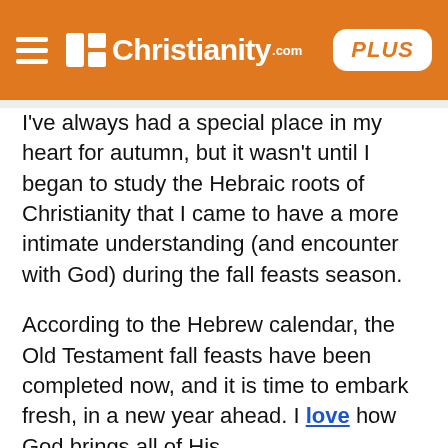Christianity.com PLUS
I've always had a special place in my heart for autumn, but it wasn't until I began to study the Hebraic roots of Christianity that I came to have a more intimate understanding (and encounter with God) during the fall feasts season.
According to the Hebrew calendar, the Old Testament fall feasts have been completed now, and it is time to embark fresh, in a new year ahead. I love how God brings all of His